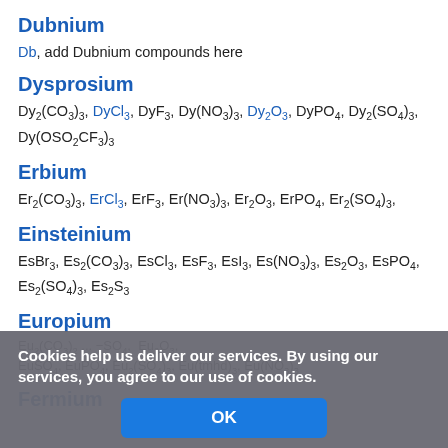Dubnium
Db, add Dubnium compounds here
Dysprosium
Dy2(CO3)3, DyCl3, DyF3, Dy(NO3)3, Dy2O3, DyPO4, Dy2(SO4)3, Dy(OSO2CF3)3
Erbium
Er2(CO3)3, ErCl3, ErF3, Er(NO3)3, Er2O3, ErPO4, Er2(SO4)3
Einsteinium
EsBr3, Es2(CO3)3, EsCl3, EsF3, EsI3, Es(NO3)3, Es2O3, EsPO4, Es2(SO4)3, Es2S3
Europium
Eu2(CO3)3 ... Eu2O3, EuSO4, EuPO4, Eu2(SO4)3, Eu(tmhd)3, Eu(NO3)3
Fermium